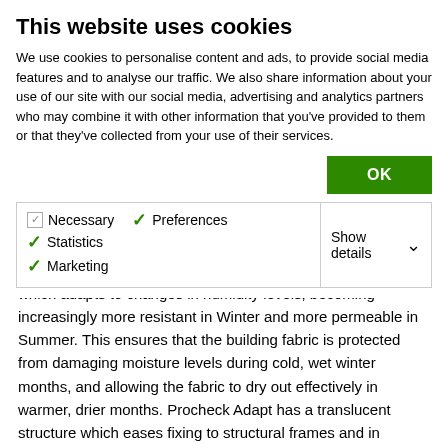This website uses cookies
We use cookies to personalise content and ads, to provide social media features and to analyse our traffic. We also share information about your use of our site with our social media, advertising and analytics partners who may combine it with other information that you've provided to them or that they've collected from your use of their services.
OK
Necessary  Preferences  Statistics  Marketing  Show details
unique design the new membrane offers variable resistance which adapts to changes in humidity levels, becoming increasingly more resistant in Winter and more permeable in Summer. This ensures that the building fabric is protected from damaging moisture levels during cold, wet winter months, and allowing the fabric to dry out effectively in warmer, drier months. Procheck Adapt has a translucent structure which eases fixing to structural frames and in combination with its integral tape allows for a fast installation time. It has long been recognised that the correct management of moisture vapour